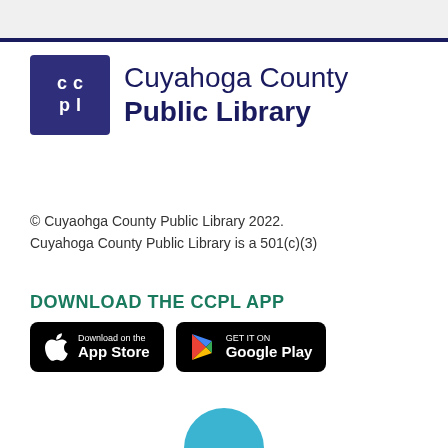[Figure (logo): Cuyahoga County Public Library logo - purple square with CC PL letters and text beside it]
© Cuyaohga County Public Library 2022.
Cuyahoga County Public Library is a 501(c)(3)
DOWNLOAD THE CCPL APP
[Figure (other): App Store and Google Play download buttons]
[Figure (other): Partial teal circle at bottom of page]